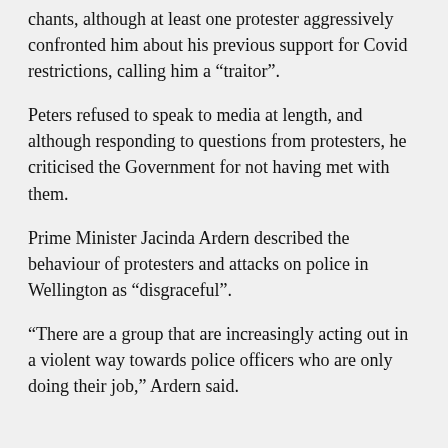chants, although at least one protester aggressively confronted him about his previous support for Covid restrictions, calling him a “traitor”.
Peters refused to speak to media at length, and although responding to questions from protesters, he criticised the Government for not having met with them.
Prime Minister Jacinda Ardern described the behaviour of protesters and attacks on police in Wellington as “disgraceful”.
“There are a group that are increasingly acting out in a violent way towards police officers who are only doing their job,” Ardern said.